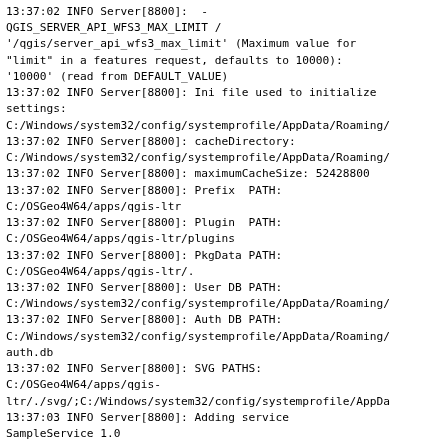13:37:02 INFO Server[8800]:  -
QGIS_SERVER_API_WFS3_MAX_LIMIT /
'/qgis/server_api_wfs3_max_limit' (Maximum value for
"limit" in a features request, defaults to 10000):
'10000' (read from DEFAULT_VALUE)
13:37:02 INFO Server[8800]: Ini file used to initialize
settings:
C:/Windows/system32/config/systemprofile/AppData/Roaming/
13:37:02 INFO Server[8800]: cacheDirectory:
C:/Windows/system32/config/systemprofile/AppData/Roaming/
13:37:02 INFO Server[8800]: maximumCacheSize: 52428800
13:37:02 INFO Server[8800]: Prefix  PATH:
C:/OSGeo4W64/apps/qgis-ltr
13:37:02 INFO Server[8800]: Plugin  PATH:
C:/OSGeo4W64/apps/qgis-ltr/plugins
13:37:02 INFO Server[8800]: PkgData PATH:
C:/OSGeo4W64/apps/qgis-ltr/.
13:37:02 INFO Server[8800]: User DB PATH:
C:/Windows/system32/config/systemprofile/AppData/Roaming/
13:37:02 INFO Server[8800]: Auth DB PATH:
C:/Windows/system32/config/systemprofile/AppData/Roaming/
auth.db
13:37:02 INFO Server[8800]: SVG PATHS:
C:/OSGeo4W64/apps/qgis-
1tr/./svg/;C:/Windows/system32/config/systemprofile/AppDa
13:37:03 INFO Server[8800]: Adding service
SampleService 1.0
13:37:03 INFO Server[8800]: Adding service WCS 1.0.0
13:37:03 INFO Server[8800]: Adding service WFS 1.1.0
13:37:03 WARNING [8800]: Adding API OGC WFS3 (Draft)